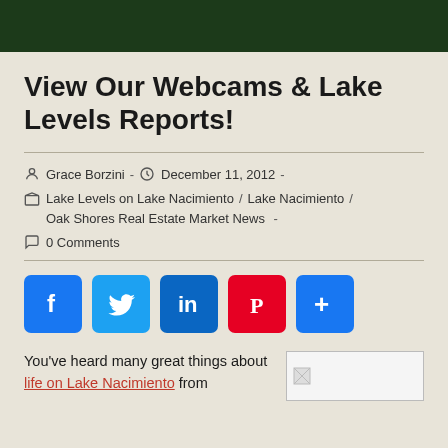View Our Webcams & Lake Levels Reports!
Grace Borzini - December 11, 2012 -
Lake Levels on Lake Nacimiento / Lake Nacimiento / Oak Shores Real Estate Market News -
0 Comments
[Figure (infographic): Social sharing buttons: Facebook, Twitter, LinkedIn, Pinterest, More]
You've heard many great things about life on Lake Nacimiento from